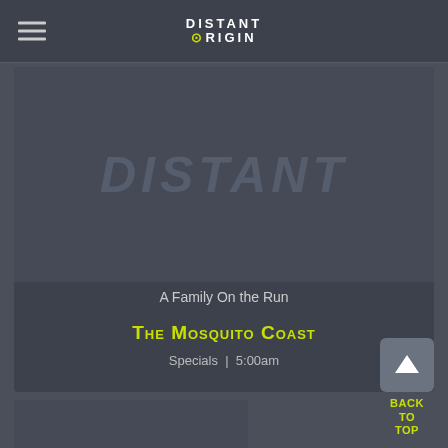DISTANT ORIGIN
[Figure (screenshot): Card showing 'A Family On the Run' episode of The Mosquito Coast, Specials at 5:00am, with dark background image]
A Family On the Run
The Mosquito Coast
Specials  |  5:00am
[Figure (screenshot): Second card with dark background image, partially visible]
BACK
TO
TOP